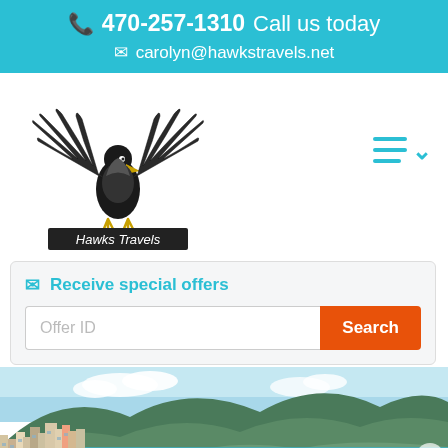📞 470-257-1310  Call us today
✉ carolyn@hawkstravels.net
[Figure (logo): Hawks Travels eagle logo with spread wings, black and gold, with 'Hawks Travels' text banner below]
[Figure (infographic): Hamburger menu icon with three cyan horizontal lines and a cyan chevron/down arrow]
✉  Receive special offers
Offer ID
Search
[Figure (photo): Scenic coastal landscape with colorful cliffside buildings on the left, turquoise sea in the middle, and green mountains in the background — resembling the Amalfi Coast, Italy]